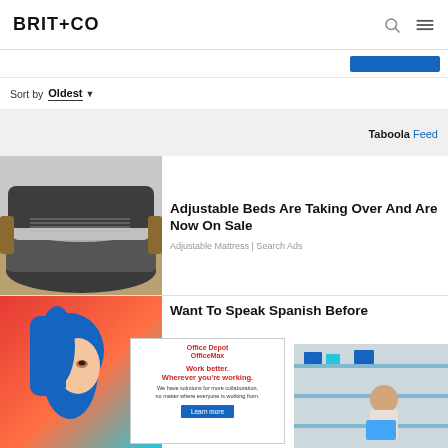BRIT+CO
Sort by Oldest
[Figure (screenshot): Taboola Feed label in gray band]
[Figure (photo): Adjustable bed with gray upholstery and yellow pillow]
Adjustable Beds Are Taking Over And Are Now On Sale
Adjustable Mattress | Search Ads
Want To Speak Spanish Before
[Figure (photo): Woman with blue hair illustration on left, woman reading book on right]
[Figure (screenshot): Office Depot OfficeMax ad: Work better. Wherever you're working.]
Sign Up